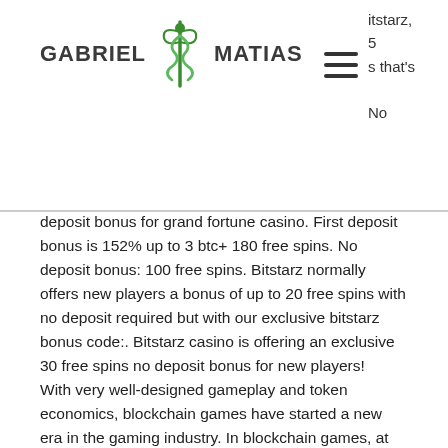[Figure (logo): Gabriel Matias logo with green caduceus/medical symbol between the two name parts]
bitstarz, 5 s that's No deposit bonus for grand fortune casino. First deposit bonus is 152% up to 3 btc+ 180 free spins. No deposit bonus: 100 free spins. Bitstarz normally offers new players a bonus of up to 20 free spins with no deposit required but with our exclusive bitstarz bonus code:. Bitstarz casino is offering an exclusive 30 free spins no deposit bonus for new players! With very well-designed gameplay and token economics, blockchain games have started a new era in the gaming industry. In blockchain games, at least some data from the game is not stored on the developer's computer. As an alternative, it is stored on a blockchain network or decentralized network, bitstarz promo code no deposit.